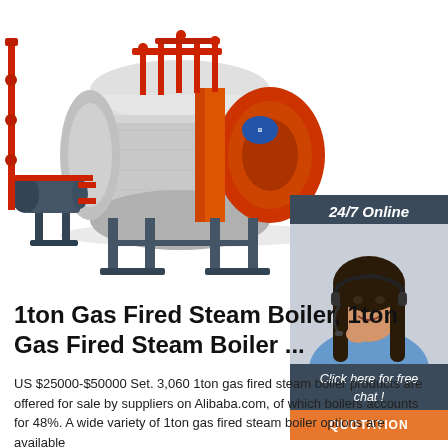[Figure (photo): Industrial gas fired steam boiler with red burner end, chrome barrel, mounted on steel legs, with auxiliary pump/heat exchanger unit on left side and red piping on top. White background.]
[Figure (infographic): Customer service chat widget on dark blue-grey background showing '24/7 Online' text, photo of a smiling woman with headset, 'Click here for free chat!' text, and an orange 'QUOTATION' button.]
1ton Gas Fired Steam Boiler, 1ton Gas Fired Steam Boiler ...
US $25000-$50000 Set. 3,060 1ton gas fired steam boiler products are offered for sale by suppliers on Alibaba.com, of which boilers accounts for 48%. A wide variety of 1ton gas fired steam boiler options are available